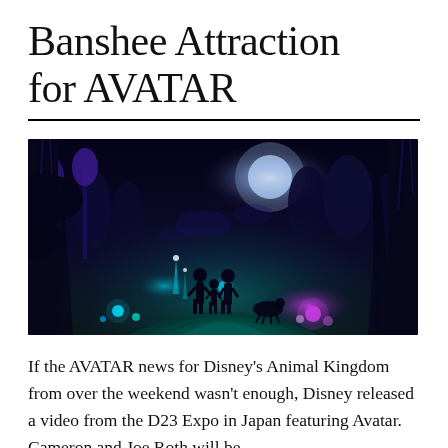Banshee Attraction for AVATAR
[Figure (illustration): Concept art for Avatar-themed Disney park attraction showing a bioluminescent Pandora jungle at night. Silhouettes of a family walking along a glowing path surrounded by luminous plants, alien trees, floating mountains in the background, and a full moon. Colors range from deep navy to purple and teal with vivid blue and pink glowing flora.]
If the AVATAR news for Disney's Animal Kingdom from over the weekend wasn't enough, Disney released a video from the D23 Expo in Japan featuring Avatar. Cameron and Joe Roth will be